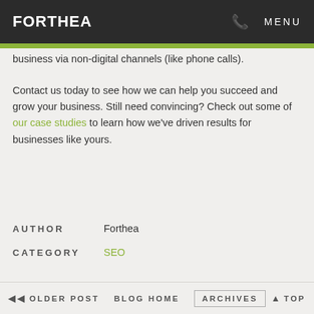FORTHEA  ✆  MENU
business via non-digital channels (like phone calls).
Contact us today to see how we can help you succeed and grow your business. Still need convincing? Check out some of our case studies to learn how we've driven results for businesses like yours.
AUTHOR  Forthea
CATEGORY  SEO
◄◄ OLDER POST   BLOG HOME   ARCHIVES   ▲ TOP